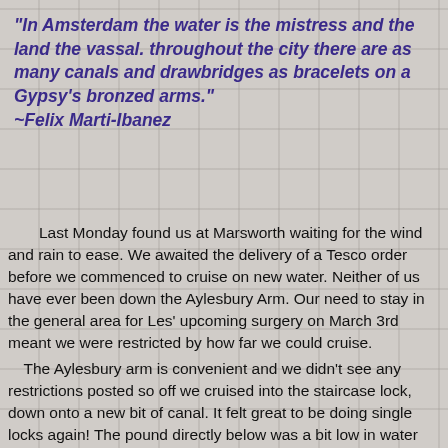“In Amsterdam the water is the mistress and the land the vassal. throughout the city there are as many canals and drawbridges as bracelets on a Gypsy’s bronzed arms.” ~Felix Marti-Ibanez
Last Monday found us at Marsworth waiting for the wind and rain to ease. We awaited the delivery of a Tesco order before we commenced to cruise on new water. Neither of us have ever been down the Aylesbury Arm. Our need to stay in the general area for Les’ upcoming surgery on March 3rd meant we were restricted by how far we could cruise. The Aylesbury arm is convenient and we didn’t see any restrictions posted so off we cruised into the staircase lock, down onto a new bit of canal. It felt great to be doing single locks again! The pound directly below was a bit low in water several days before when we walked down to have a look. After two nights of near continuous rain it was full and we soon reached Blackjack’s lock which sports new brickwork repairing the breach from March 2013. By this time the winds were quite furious. Rain was pelting from bruised and livid skies and we had the devil’s own time